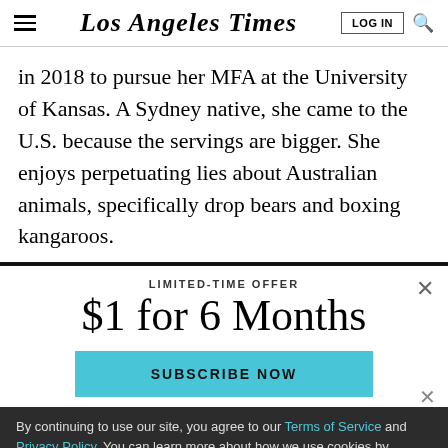Los Angeles Times
in 2018 to pursue her MFA at the University of Kansas. A Sydney native, she came to the U.S. because the servings are bigger. She enjoys perpetuating lies about Australian animals, specifically drop bears and boxing kangaroos.
LIMITED-TIME OFFER
$1 for 6 Months
SUBSCRIBE NOW
By continuing to use our site, you agree to our Terms of Service and Privacy Policy. You can learn more about how we use cookies by reviewing our Privacy Policy. Close